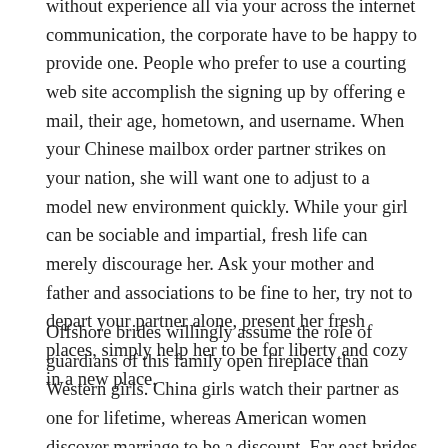without experience all via your across the internet communication, the corporate have to be happy to provide one. People who prefer to use a courting web site accomplish the signing up by offering e mail, their age, hometown, and username. When your Chinese mailbox order partner strikes on your nation, she will want one to adjust to a model new environment quickly. While your girl can be sociable and impartial, fresh life can merely discourage her. Ask your mother and father and associations to be fine to her, try not to depart your partner alone, present her fresh places, simply help her to be for liberty and cozy in a new place.
Offshore brides willingly assume the role of guardians of this family open fireplace than Western girls. China girls watch their partner as one for lifetime, whereas American women discover marriage to be a discount. Far east brides would like to do family members chores, delight their partner with delicious handmade